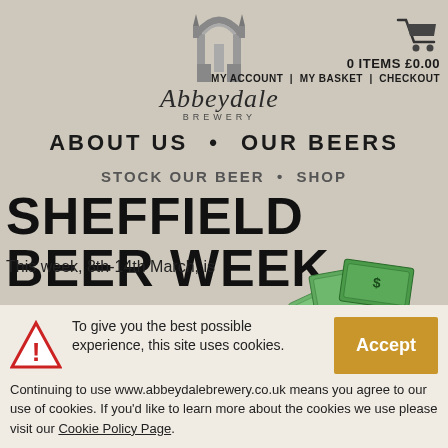[Figure (logo): Abbeydale Brewery logo with illustrated building arch/gateway icon above italic 'Abbeydale' text and 'BREWERY' in small caps]
0 ITEMS £0.00 MY ACCOUNT | MY BASKET | CHECKOUT
ABOUT US • OUR BEERS
STOCK OUR BEER • SHOP
SHEFFIELD BEER WEEK
This week, 8th-14th March, is
[Figure (illustration): Illustrated green money/cash notes fanned out]
To give you the best possible experience, this site uses cookies. Continuing to use www.abbeydalebrewery.co.uk means you agree to our use of cookies. If you'd like to learn more about the cookies we use please visit our Cookie Policy Page.